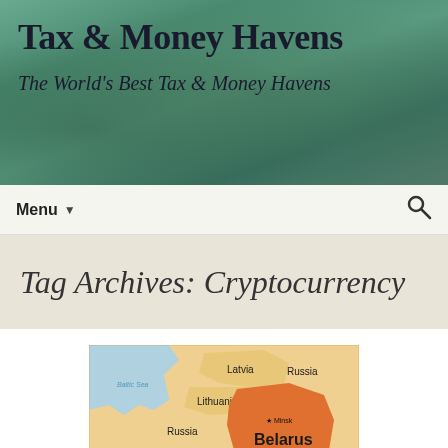Tax & Money Havens
The World's Best Tax & Money Havens
Menu
Tag Archives: Cryptocurrency
[Figure (map): Map showing Belarus and surrounding countries including Latvia, Lithuania, Russia, Poland, Ukraine, with Baltic Sea labeled. Belarus shown in orange/red highlight with Minsk marked as capital city and Chernobyl labeled near Ukraine border.]